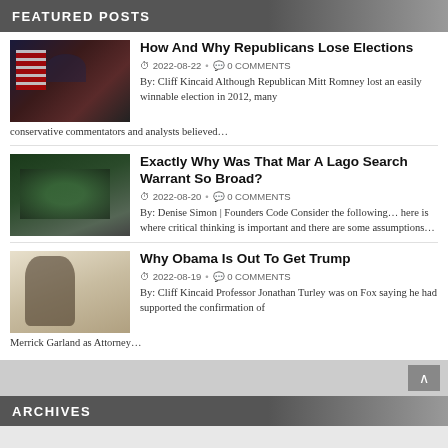FEATURED POSTS
How And Why Republicans Lose Elections
2022-08-22 • 0 COMMENTS
By: Cliff Kincaid Although Republican Mitt Romney lost an easily winnable election in 2012, many conservative commentators and analysts believed…
Exactly Why Was That Mar A Lago Search Warrant So Broad?
2022-08-20 • 0 COMMENTS
By: Denise Simon | Founders Code Consider the following… here is where critical thinking is important and there are some assumptions…
Why Obama Is Out To Get Trump
2022-08-19 • 0 COMMENTS
By: Cliff Kincaid Professor Jonathan Turley was on Fox saying he had supported the confirmation of Merrick Garland as Attorney…
ARCHIVES